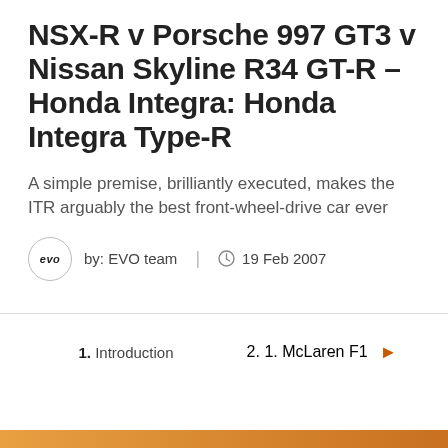NSX-R v Porsche 997 GT3 v Nissan Skyline R34 GT-R - Honda Integra: Honda Integra Type-R
A simple premise, brilliantly executed, makes the ITR arguably the best front-wheel-drive car ever
by: EVO team | 19 Feb 2007
1. Introduction
2. 1. McLaren F1